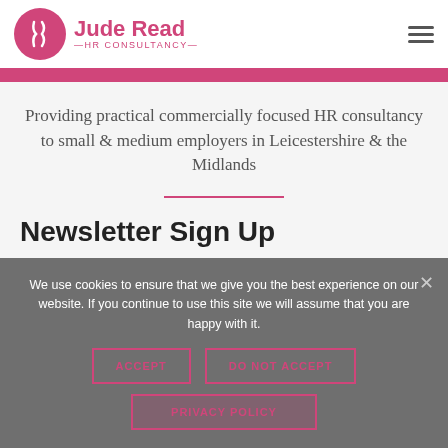[Figure (logo): Jude Read HR Consultancy logo with pink circle icon and company name]
Providing practical commercially focused HR consultancy to small & medium employers in Leicestershire & the Midlands
Newsletter Sign Up
We use cookies to ensure that we give you the best experience on our website. If you continue to use this site we will assume that you are happy with it.